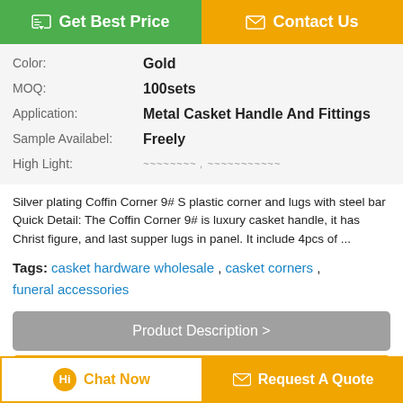[Figure (other): Two buttons: 'Get Best Price' (green) and 'Contact Us' (orange)]
| Color: | Gold |
| MOQ: | 100sets |
| Application: | Metal Casket Handle And Fittings |
| Sample Availabel: | Freely |
| High Light: |  |
Silver plating Coffin Corner 9# S plastic corner and lugs with steel bar Quick Detail: The Coffin Corner 9# is luxury casket handle, it has Christ figure, and last supper lugs in panel. It include 4pcs of ...
Tags: casket hardware wholesale , casket corners , funeral accessories
Product Description >
Get the Best Price for
[Figure (other): Bottom buttons: 'Chat Now' and 'Request A Quote']